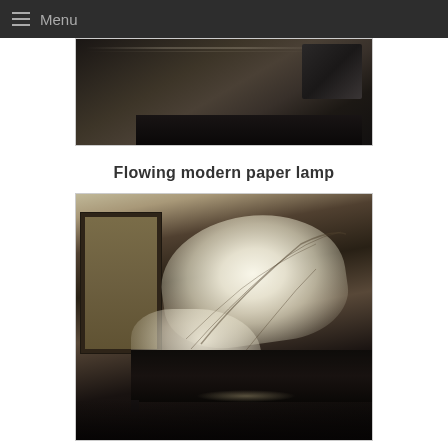Menu
[Figure (photo): Partial view of a dark room with a lamp or furniture piece, dark moody photography]
Flowing modern paper lamp
[Figure (photo): A glowing white paper lamp with wire frame in a curved tubular shape, sitting on a dark shelf next to a framed newspaper photograph on the wall]